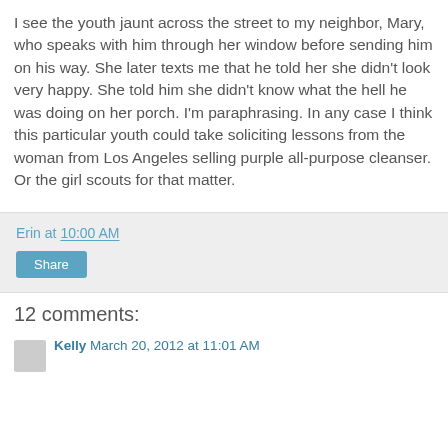I see the youth jaunt across the street to my neighbor, Mary, who speaks with him through her window before sending him on his way. She later texts me that he told her she didn't look very happy. She told him she didn't know what the hell he was doing on her porch. I'm paraphrasing. In any case I think this particular youth could take soliciting lessons from the woman from Los Angeles selling purple all-purpose cleanser. Or the girl scouts for that matter.
Erin at 10:00 AM
Share
12 comments:
Kelly March 20, 2012 at 11:01 AM